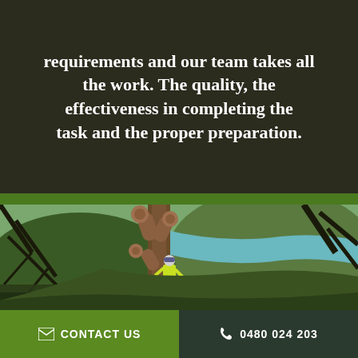requirements and our team takes all the work. The quality, the effectiveness in completing the task and the proper preparation.
[Figure (photo): An arborist in a high-visibility yellow jacket and safety helmet is climbing and pruning a large tree on a steep hillside. The tree has been partially cut, with several limbs removed. In the background there is a turquoise river or lake winding through forested hills.]
CONTACT US
0480 024 203